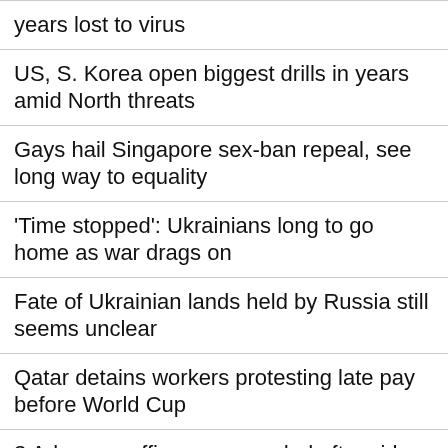years lost to virus
US, S. Korea open biggest drills in years amid North threats
Gays hail Singapore sex-ban repeal, see long way to equality
'Time stopped': Ukrainians long to go home as war drags on
Fate of Ukrainian lands held by Russia still seems unclear
Qatar detains workers protesting late pay before World Cup
3 Arkansas officers suspended after video captures beating
What t...